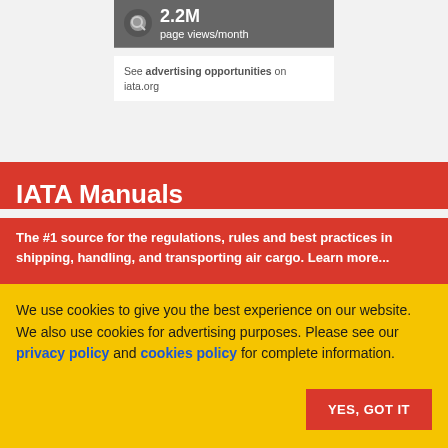[Figure (infographic): Grey box showing 2.2M page views/month stat with magnifier icon]
See advertising opportunities on iata.org
IATA Manuals
The #1 source for the regulations, rules and best practices in shipping, handling, and transporting air cargo. Learn more...
We use cookies to give you the best experience on our website. We also use cookies for advertising purposes. Please see our privacy policy and cookies policy for complete information.
YES, GOT IT